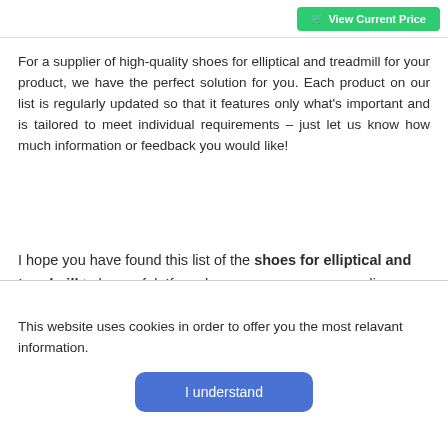[Figure (other): Green 'View Current Price' button with shopping cart icon in top-right area]
For a supplier of high-quality shoes for elliptical and treadmill for your product, we have the perfect solution for you. Each product on our list is regularly updated so that it features only what's important and is tailored to meet individual requirements – just let us know how much information or feedback you would like!
I hope you have found this list of the shoes for elliptical and treadmill to be useful. If you have any concerns regarding our website or reviews, please do
This website uses cookies in order to offer you the most relavant information.
[Figure (other): Blue 'I understand' button for cookie consent]